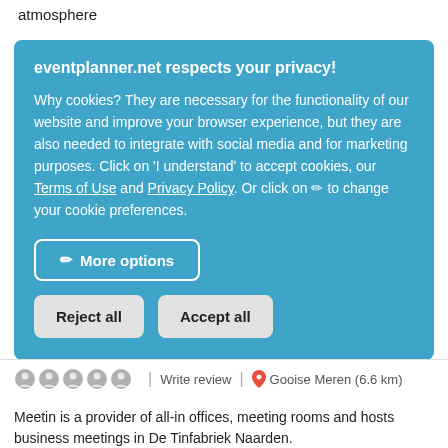atmosphere
eventplanner.net respects your privacy! Why cookies? They are necessary for the functionality of our website and improve your browser experience, but they are also needed to integrate with social media and for marketing purposes. Click on 'I understand' to accept cookies, our Terms of Use and Privacy Policy. Or click on ✏ to change your cookie preferences.
✏ More options
Reject all
Accept all
Write review  |  📍 Gooise Meren (6.6 km)
Meetin is a provider of all-in offices, meeting rooms and hosts business meetings in De Tinfabriek Naarden.